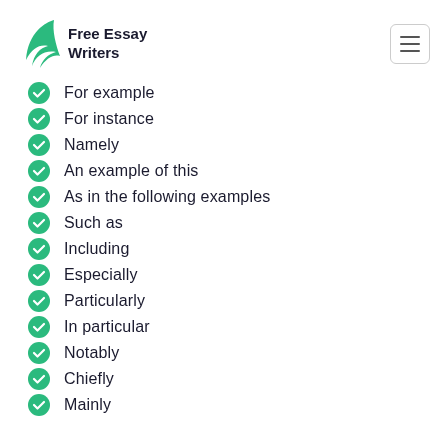Free Essay Writers
For example
For instance
Namely
An example of this
As in the following examples
Such as
Including
Especially
Particularly
In particular
Notably
Chiefly
Mainly